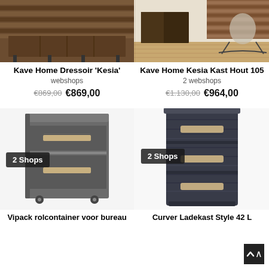[Figure (photo): Kave Home Dressoir Kesia furniture photo — dark wood sideboard against slatted wood wall]
[Figure (photo): Kave Home Kesia Kast Hout 105 — interior scene with dark wood cabinet, rocking chair, wooden floor]
Kave Home Dressoir 'Kesia'
webshops
€869,00  €869,00
Kave Home Kesia Kast Hout 105
2 webshops
€1.130,00  €964,00
[Figure (photo): Vipack rolcontainer voor bureau — dark grey two-drawer rolling cabinet with light wood handles]
[Figure (photo): Curver Ladekast Style 4L — dark navy/anthracite rattan-texture three-drawer storage unit]
Vipack rolcontainer voor bureau
Curver Ladekast Style 42 L